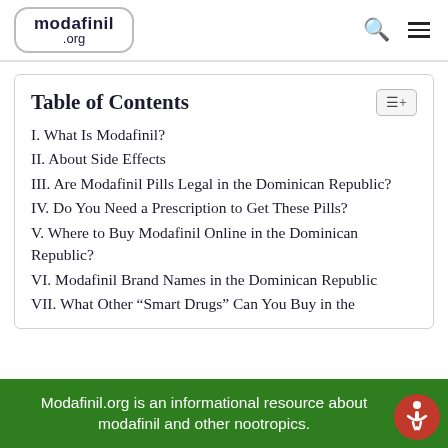modafinil .org
Table of Contents
I. What Is Modafinil?
II. About Side Effects
III. Are Modafinil Pills Legal in the Dominican Republic?
IV. Do You Need a Prescription to Get These Pills?
V. Where to Buy Modafinil Online in the Dominican Republic?
VI. Modafinil Brand Names in the Dominican Republic
VII. What Other “Smart Drugs” Can You Buy in the
Modafinil.org is an informational resource about modafinil and other nootropics.